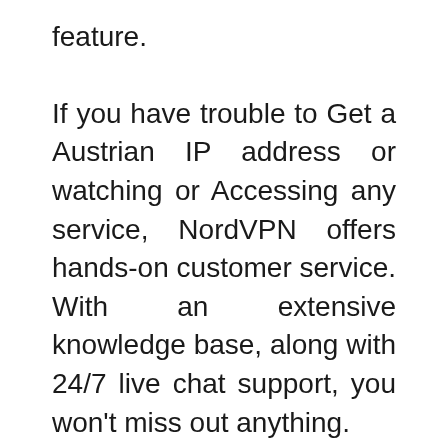feature.
If you have trouble to Get a Austrian IP address or watching or Accessing any service, NordVPN offers hands-on customer service. With an extensive knowledge base, along with 24/7 live chat support, you won’t miss out anything.
With a One Subscription you can easily connect up to 6 connections at a time and comes with a 30-day